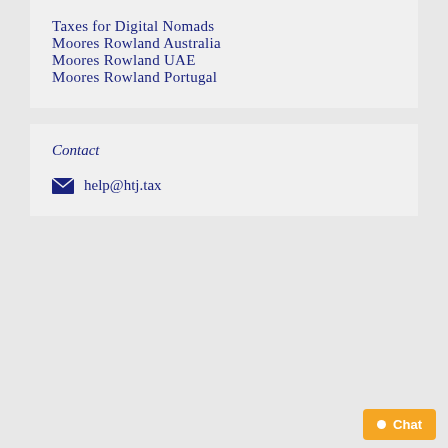Taxes for Digital Nomads
Moores Rowland Australia
Moores Rowland UAE
Moores Rowland Portugal
Contact
help@htj.tax